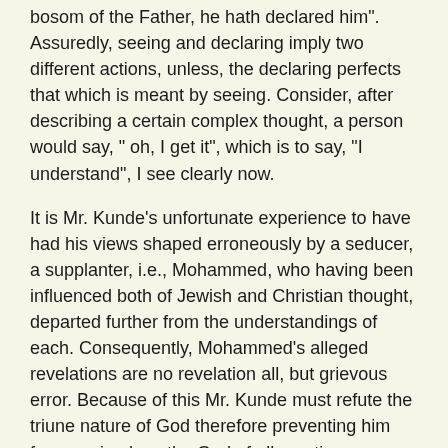bosom of the Father, he hath declared him". Assuredly, seeing and declaring imply two different actions, unless, the declaring perfects that which is meant by seeing. Consider, after describing a certain complex thought, a person would say, " oh, I get it", which is to say, "I understand", I see clearly now.
It is Mr. Kunde's unfortunate experience to have had his views shaped erroneously by a seducer, a supplanter, i.e., Mohammed, who having been influenced both of Jewish and Christian thought, departed further from the understandings of each. Consequently, Mohammed's alleged revelations are no revelation all, but grievous error. Because of this Mr. Kunde must refute the triune nature of God therefore preventing him from seeing how the God of all creation can insinuate Himself into that which He has created, and yet be God and God alone.
In attempting to give a simplistic understanding, we must ask ourselves, can God be in His indescribable heavens, and yet be on earth at the same time. We must ask ourselves, can God, who is omniscient, limit